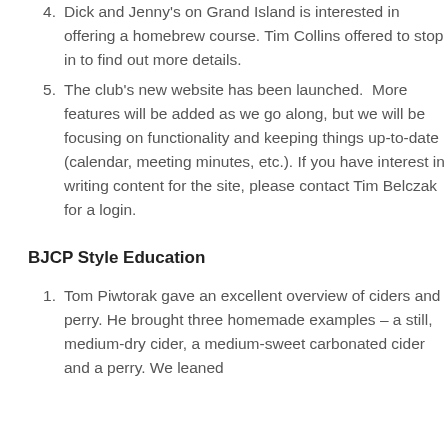4. Dick and Jenny's on Grand Island is interested in offering a homebrew course.  Tim Collins offered to stop in to find out more details.
5. The club's new website has been launched.  More features will be added as we go along, but we will be focusing on functionality and keeping things up-to-date (calendar, meeting minutes, etc.).  If you have interest in writing content for the site, please contact Tim Belczak for a login.
BJCP Style Education
1. Tom Piwtorak gave an excellent overview of ciders and perry.  He brought three homemade examples – a still, medium-dry cider, a medium-sweet carbonated cider and a perry.  We leaned